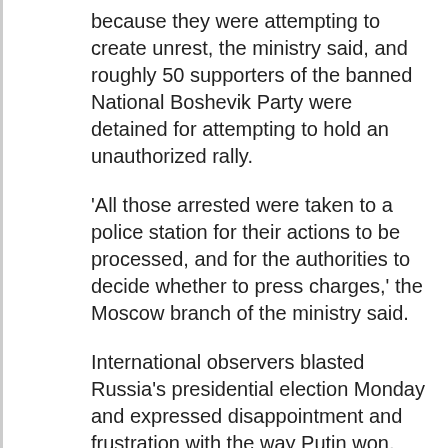because they were attempting to create unrest, the ministry said, and roughly 50 supporters of the banned National Boshevik Party were detained for attempting to hold an unauthorized rally.
'All those arrested were taken to a police station for their actions to be processed, and for the authorities to decide whether to press charges,' the Moscow branch of the ministry said.
International observers blasted Russia's presidential election Monday and expressed disappointment and frustration with the way Putin won.
'The point of an election is that the outcome should be uncertain. This was not the case in Russia,' said Tonino Picula, the head of an observer mission from the Organization for Security and Cooperation in Europe (OSCE).